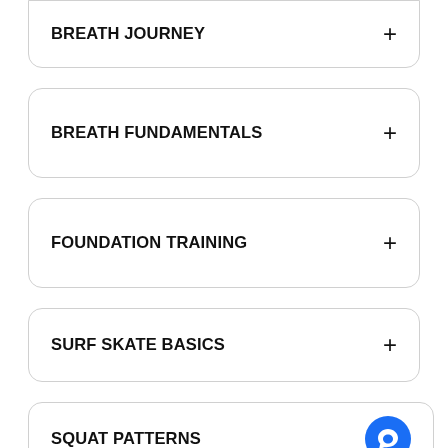BREATH JOURNEY
BREATH FUNDAMENTALS
FOUNDATION TRAINING
SURF SKATE BASICS
SQUAT PATTERNS